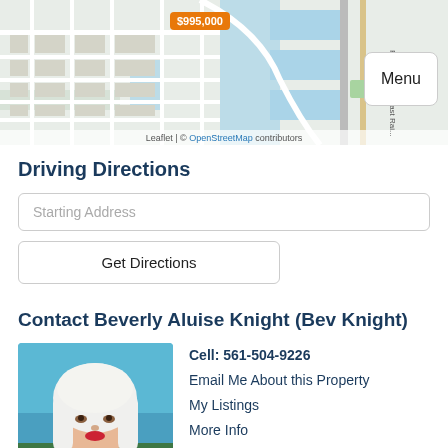[Figure (map): Street map showing property location with $995,000 price bubble marker and Menu button overlay. Attribution: Leaflet | © OpenStreetMap contributors]
Driving Directions
Starting Address
Get Directions
Contact Beverly Aluise Knight (Bev Knight)
[Figure (photo): Photo of Beverly Aluise Knight (Bev Knight), a woman with long white/blonde hair, wearing red lipstick, outdoors with blue sky and ocean in background]
Cell: 561-504-9226
Email Me About this Property
My Listings
More Info